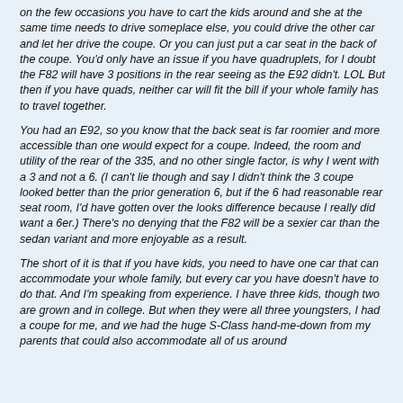on the few occasions you have to cart the kids around and she at the same time needs to drive someplace else, you could drive the other car and let her drive the coupe. Or you can just put a car seat in the back of the coupe. You'd only have an issue if you have quadruplets, for I doubt the F82 will have 3 positions in the rear seeing as the E92 didn't. LOL But then if you have quads, neither car will fit the bill if your whole family has to travel together.
You had an E92, so you know that the back seat is far roomier and more accessible than one would expect for a coupe. Indeed, the room and utility of the rear of the 335, and no other single factor, is why I went with a 3 and not a 6. (I can't lie though and say I didn't think the 3 coupe looked better than the prior generation 6, but if the 6 had reasonable rear seat room, I'd have gotten over the looks difference because I really did want a 6er.) There's no denying that the F82 will be a sexier car than the sedan variant and more enjoyable as a result.
The short of it is that if you have kids, you need to have one car that can accommodate your whole family, but every car you have doesn't have to do that. And I'm speaking from experience. I have three kids, though two are grown and in college. But when they were all three youngsters, I had a coupe for me, and we had the huge S-Class hand-me-down from my parents that could also accommodate all of us around